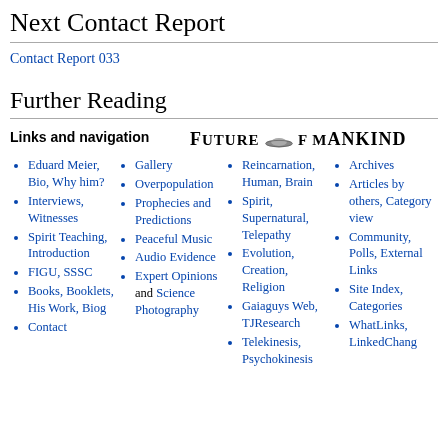Next Contact Report
Contact Report 033
Further Reading
Links and navigation   FUTURE OF MANKIND
Eduard Meier, Bio, Why him?
Interviews, Witnesses
Spirit Teaching, Introduction
FIGU, SSSC
Books, Booklets, His Work, Biog
Contact
Gallery
Overpopulation
Prophecies and Predictions
Peaceful Music
Audio Evidence
Expert Opinions and Science Photography
Reincarnation, Human, Brain
Spirit, Supernatural, Telepathy
Evolution, Creation, Religion
Gaiaguys Web, TJResearch
Telekinesis, Psychokinesis
Archives
Articles by others, Category view
Community, Polls, External Links
Site Index, Categories
WhatLinks, LinkedChang